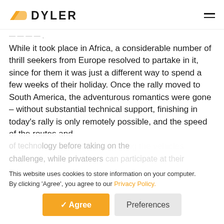[Figure (logo): Dyler logo: yellow wing/arrow icon followed by bold text DYLER]
While it took place in Africa, a considerable number of thrill seekers from Europe resolved to partake in it, since for them it was just a different way to spend a few weeks of their holiday. Once the rally moved to South America, the adventurous romantics were gone – without substantial technical support, finishing in today's rally is only remotely possible, and the speed of the routes and
aggressive conditions make using the vehicles extremely
This website uses cookies to store information on your computer. By clicking 'Agree', you agree to our Privacy Policy.